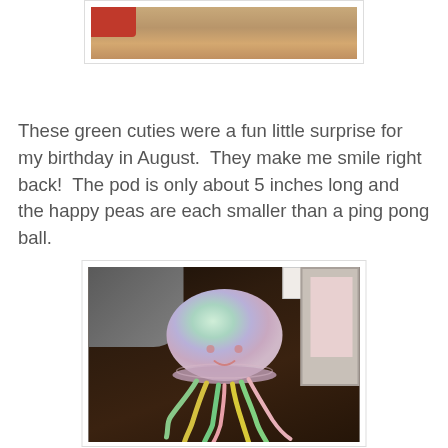[Figure (photo): Partial top view of a wooden surface with a red object visible, inside a white bordered photo frame — cropped at top of page.]
These green cuties were a fun little surprise for my birthday in August.  They make me smile right back!  The pod is only about 5 inches long and the happy peas are each smaller than a ping pong ball.
[Figure (photo): Photo of a colorful crocheted jellyfish with a pastel dome top (green, purple, pink) and long multicolored tentacles (yellow, green, pink), resting on a dark wooden surface with a gray cloth and white picture frame visible in the background.]